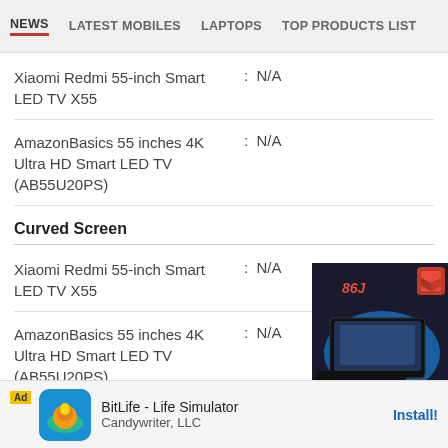NEWS  LATEST MOBILES  LAPTOPS  TOP PRODUCTS LIST
Xiaomi Redmi 55-inch Smart LED TV X55 : N/A
AmazonBasics 55 inches 4K Ultra HD Smart LED TV (AB55U20PS) : N/A
Curved Screen
Xiaomi Redmi 55-inch Smart LED TV X55 : N/A
AmazonBasics 55 inches 4K Ultra HD Smart LED TV (AB55U20PS) : N/A
[Figure (photo): Product box showing a TV system — price ₹1,33,609.99 with red cube logo]
Smart Tv
Ad  BitLife - Life Simulator  Candywriter, LLC  Install!